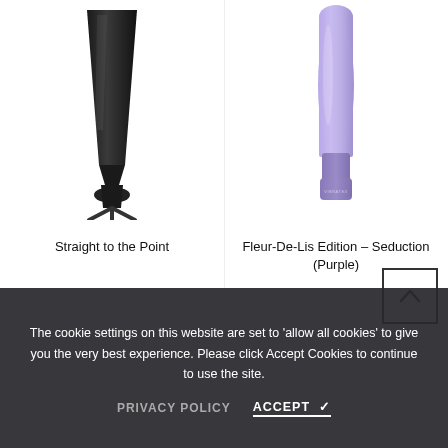[Figure (photo): Black tapered paddle/point product on white background]
Straight to the Point
[Figure (photo): Purple wand vibrator (Fleur-De-Lis Edition – Seduction) on white background]
Fleur-De-Lis Edition – Seduction (Purple)
The cookie settings on this website are set to 'allow all cookies' to give you the very best experience. Please click Accept Cookies to continue to use the site.
PRIVACY POLICY
ACCEPT ✔